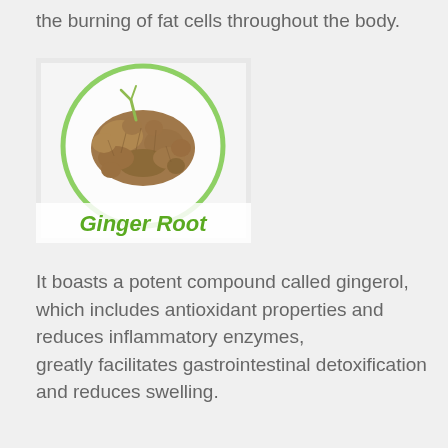the burning of fat cells throughout the body.
[Figure (photo): Photo of ginger root with a green circular frame and green italic bold label 'Ginger Root' at the bottom]
It boasts a potent compound called gingerol, which includes antioxidant properties and reduces inflammatory enzymes, greatly facilitates gastrointestinal detoxification and reduces swelling.